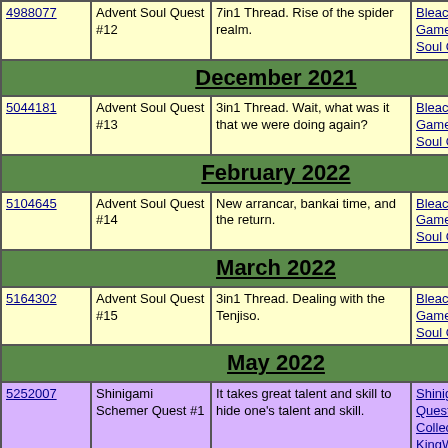| ID | Name | Description | Tags |
| --- | --- | --- | --- |
| 4988077 | Advent Soul Quest #12 | 7in1 Thread. Rise of the spider realm. | Bleach, Collective Game, AU, Advent Soul Quest, Trippy |
| December 2021 |  |  |  |
| 5044181 | Advent Soul Quest #13 | 3in1 Thread. Wait, what was it that we were doing again? | Bleach, Collective Game, AU, Advent Soul Quest, Trippy |
| February 2022 |  |  |  |
| 5104645 | Advent Soul Quest #14 | New arrancar, bankai time, and the return. | Bleach, Collective Game, AU, Advent Soul Quest, Trippy |
| March 2022 |  |  |  |
| 5164302 | Advent Soul Quest #15 | 3in1 Thread. Dealing with the Tenjiso. | Bleach, Collective Game, AU, Advent Soul Quest, Trippy |
| May 2022 |  |  |  |
| 5252007 | Shinigami Schemer Quest #1 | It takes great talent and skill to hide one's talent and skill. | Shinigami Schemer Quest, Bleach, Collective Game, KingWormmy |
| 5219148 | Advent Soul Quest #16 | South temple and bootleg hanran. | Bleach, Collective Game, AU, Advent Soul Quest, Trippy |